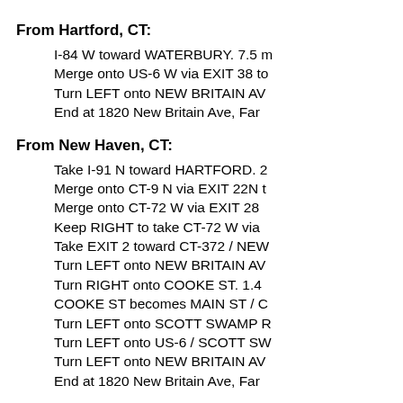From Hartford, CT:
I-84 W toward WATERBURY. 7.5 m
Merge onto US-6 W via EXIT 38 to
Turn LEFT onto NEW BRITAIN AV
End at 1820 New Britain Ave, Far
From New Haven, CT:
Take I-91 N toward HARTFORD. 2
Merge onto CT-9 N via EXIT 22N t
Merge onto CT-72 W via EXIT 28
Keep RIGHT to take CT-72 W via
Take EXIT 2 toward CT-372 / NEW
Turn LEFT onto NEW BRITAIN AV
Turn RIGHT onto COOKE ST. 1.4
COOKE ST becomes MAIN ST / C
Turn LEFT onto SCOTT SWAMP R
Turn LEFT onto US-6 / SCOTT SW
Turn LEFT onto NEW BRITAIN AV
End at 1820 New Britain Ave, Far
From New London, CT
Take I-95 S via the ramp on the LE
Merge onto CT-9 N via EXIT 69 to
Merge onto CT-72 W via EXIT 28
Keep RIGHT to take CT-72 W vi
mi.Take EXIT 2 toward CT-372 / N
Turn LEFT onto NEW BRITAIN AV